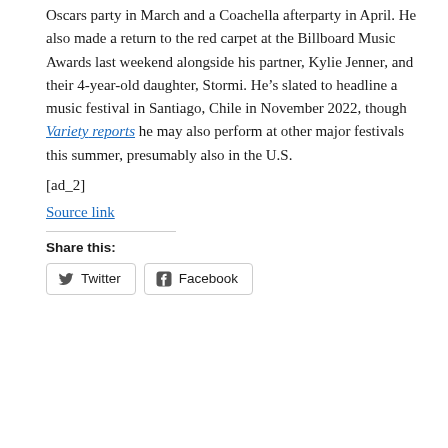Oscars party in March and a Coachella afterparty in April. He also made a return to the red carpet at the Billboard Music Awards last weekend alongside his partner, Kylie Jenner, and their 4-year-old daughter, Stormi. He’s slated to headline a music festival in Santiago, Chile in November 2022, though Variety reports he may also perform at other major festivals this summer, presumably also in the U.S.
[ad_2]
Source link
Share this:
Twitter   Facebook